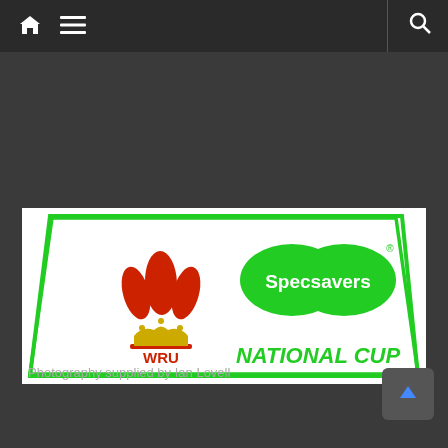[Figure (screenshot): Mobile website navigation bar with home icon, hamburger menu icon on left, and search icon on right, dark background]
[Figure (logo): WRU Specsavers National Cup logo banner: Welsh Rugby Union feathers crest on left with WRU text, Specsavers double-oval green logo and NATIONAL CUP text in green on right, all inside a green outlined parallelogram-style border on white background]
Photography supplied by Ian Lovell